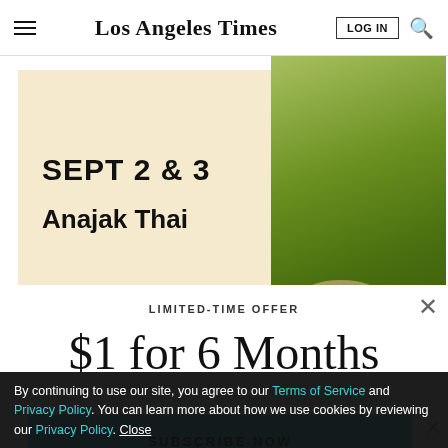Los Angeles Times
[Figure (illustration): Advertisement banner showing 'SEPT 2 & 3 Anajak Thai' on a beige background on the left, with a bowl of green matcha on a decorative plate on the right]
LIMITED-TIME OFFER
$1 for 6 Months
SUBSCRIBE NOW
By continuing to use our site, you agree to our Terms of Service and Privacy Policy. You can learn more about how we use cookies by reviewing our Privacy Policy. Close